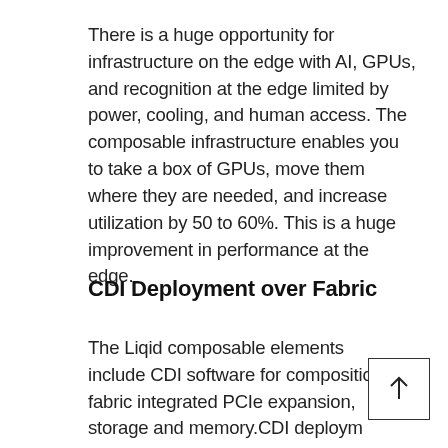There is a huge opportunity for infrastructure on the edge with AI, GPUs, and recognition at the edge limited by power, cooling, and human access. The composable infrastructure enables you to take a box of GPUs, move them where they are needed, and increase utilization by 50 to 60%. This is a huge improvement in performance at the edge.
CDI Deployment over Fabric
The Liqid composable elements include CDI software for composition, fabric integrated PCIe expansion, storage and memory.CDI deployment over fabric scales from 1 to 16 hosts